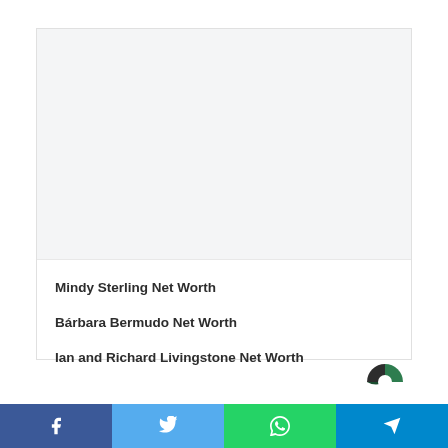[Figure (photo): Light gray placeholder image area]
Mindy Sterling Net Worth
Bárbara Bermudo Net Worth
Ian and Richard Livingstone Net Worth
[Figure (logo): Circular logo with green and dark segments, partial view at bottom right]
Social share bar: Facebook, Twitter, WhatsApp, Telegram